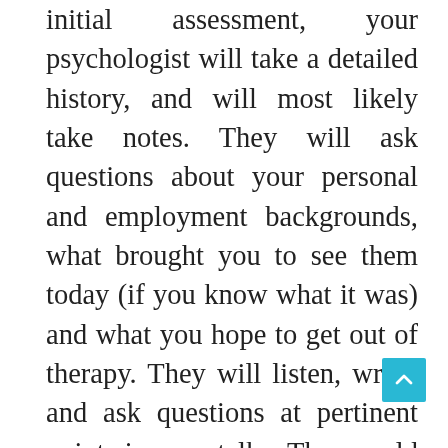initial assessment, your psychologist will take a detailed history, and will most likely take notes. They will ask questions about your personal and employment backgrounds, what brought you to see them today (if you know what it was) and what you hope to get out of therapy. They will listen, write, and ask questions at pertinent points in your talks. They could use questionnaires and/or other tools during your sessions (some may be to establish a baseline, others will give them important information about the type of personality you have and how you will best benefit from different therapeutic styles). They may give you 'homework', which is crucial if your sessions are to be of benefit. And they will check at each session to see how your progress is